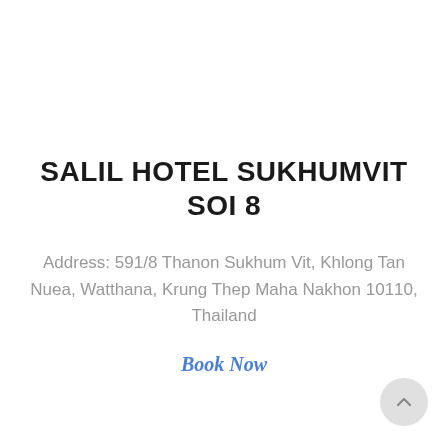SALIL HOTEL SUKHUMVIT SOI 8
Address: 591/8 Thanon Sukhum Vit, Khlong Tan Nuea, Watthana, Krung Thep Maha Nakhon 10110, Thailand
Book Now
[Figure (other): Circular scroll-to-top button with an upward chevron arrow, light grey background]